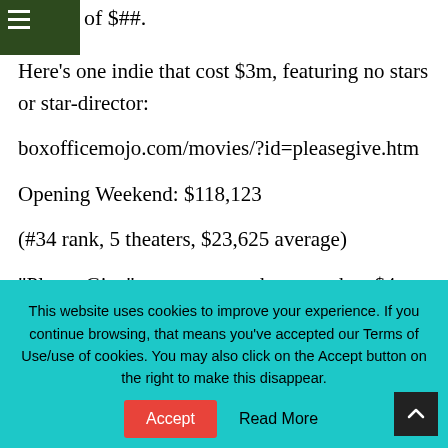of $##.
Here’s one indie that cost $3m, featuring no stars or star-director: boxofficemojo.com/movies/?id=pleasegive.htm Opening Weekend: $118,123 (#34 rank, 5 theaters, $23,625 average) “Please Give” went on to make more than $4m in the US/Canada.
This website uses cookies to improve your experience. If you continue browsing, that means you’ve accepted our Terms of Use/use of cookies. You may also click on the Accept button on the right to make this disappear.